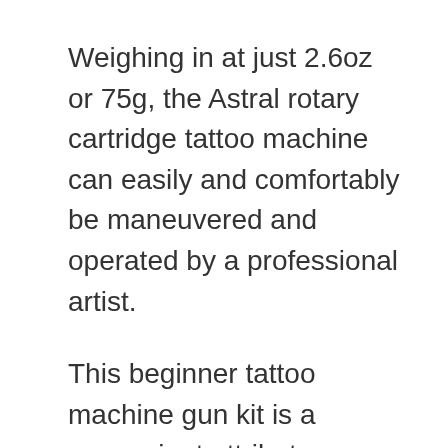Weighing in at just 2.6oz or 75g, the Astral rotary cartridge tattoo machine can easily and comfortably be maneuvered and operated by a professional artist.
This beginner tattoo machine gun kit is a convenient attribute among the best tattoo kit other tattoo supplies as they are suitable for even the most complex of tattoo projects.
The rotary guns is as well of appealing physical characteristics, and the purple